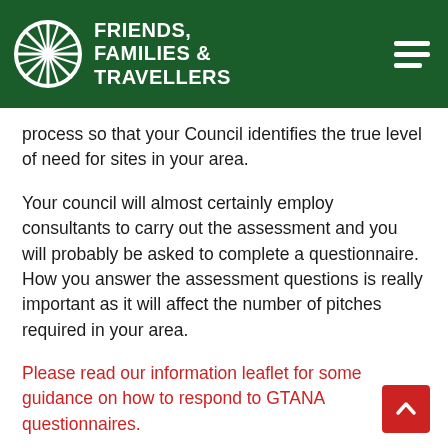[Figure (logo): Friends, Families & Travellers logo with wagon wheel icon on dark green header background, with hamburger menu icon on right]
process so that your Council identifies the true level of need for sites in your area.
Your council will almost certainly employ consultants to carry out the assessment and you will probably be asked to complete a questionnaire. How you answer the assessment questions is really important as it will affect the number of pitches required in your area.
Please read our information leaflet for some guidance on how to respond to GTANA questionnaires.